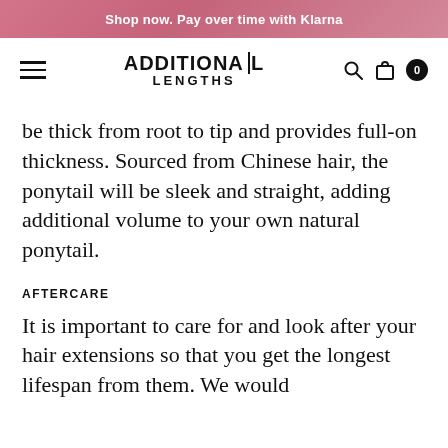Shop now. Pay over time with Klarna
[Figure (logo): Additional Lengths logo with hamburger menu, search icon, bag icon, and cart badge showing 0]
be thick from root to tip and provides full-on thickness. Sourced from Chinese hair, the ponytail will be sleek and straight, adding additional volume to your own natural ponytail.
AFTERCARE
It is important to care for and look after your hair extensions so that you get the longest lifespan from them. We would